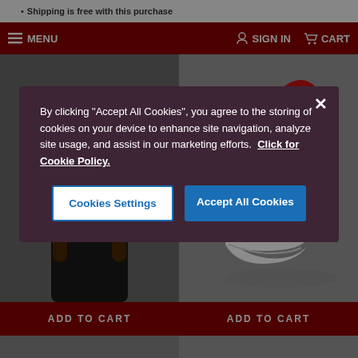Shipping is free with this purchase
MENU | SIGN IN | CART
[Figure (screenshot): Cookie consent modal overlay on a retail website selling Christmas hats. Modal has dark maroon background with text about accepting cookies, a 'Cookies Settings' button, and an 'Accept All Cookies' button. Background shows navigation bar with MENU, SIGN IN, CART, and product images of Santa hats with ADD TO CART buttons.]
By clicking “Accept All Cookies”, you agree to the storing of cookies on your device to enhance site navigation, analyze site usage, and assist in our marketing efforts.  Click for Cookie Policy.
Cookies Settings
Accept All Cookies
ADD TO CART
ADD TO CART